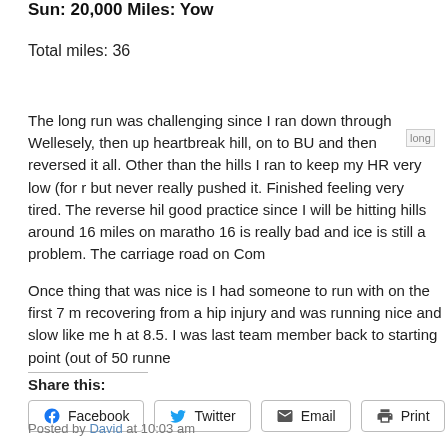Sun: 20,000 Miles: Yow
Total miles: 36
The long run was challenging since I ran down through Wellesely, then up heartbreak hill, on to BU and then reversed it all. Other than the hills I ran to keep my HR very low (for r... but never really pushed it. Finished feeling very tired. The reverse hi... good practice since I will be hitting hills around 16 miles on marathon... 16 is really bad and ice is still a problem. The carriage road on Comm...
[Figure (photo): Partial image labeled 'long' visible at top right of paragraph]
Once thing that was nice is I had someone to run with on the first 7 m... recovering from a hip injury and was running nice and slow like me  h... at 8.5. I was last team member back to starting point (out of 50 runne...
Share this:
Facebook  Twitter  Email  Print
Posted by David at 10:03 am